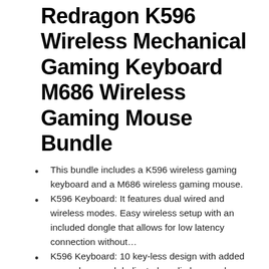Redragon K596 Wireless Mechanical Gaming Keyboard M686 Wireless Gaming Mouse Bundle
This bundle includes a K596 wireless gaming keyboard and a M686 wireless gaming mouse.
K596 Keyboard: It features dual wired and wireless modes. Easy wireless setup with an included dongle that allows for low latency connection without…
K596 Keyboard: 10 key-less design with added macro keys and dedicated media keys makes the keyboard ultra-compact and portable. Saves space in any…
M686 Mouse: Geared with 5 onboard DPI levels (1000/2000/4000/8000/16000) which allow your mouse